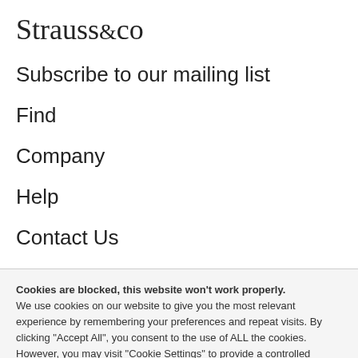Strauss&co
Subscribe to our mailing list
Find
Company
Help
Contact Us
Cookies are blocked, this website won't work properly. We use cookies on our website to give you the most relevant experience by remembering your preferences and repeat visits. By clicking "Accept All", you consent to the use of ALL the cookies. However, you may visit "Cookie Settings" to provide a controlled consent.
Cookie Settings | Accept All